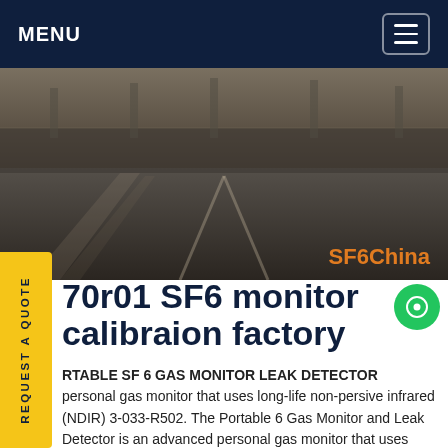MENU
[Figure (photo): Industrial factory floor or railway track area, dark/dimly lit with 'SF6China' watermark in orange text at bottom right]
70r01 SF6 monitor calibraion factory
RTABLE SF 6 GAS MONITOR LEAK DETECTOR personal gas monitor that uses long-life non-persive infrared (NDIR) 3-033-R502. The Portable 6 Gas Monitor and Leak Detector is an advanced personal gas monitor that uses long-life non-dispersive infrared (NDIR) sensor technology for analyzing and checking low-level gas